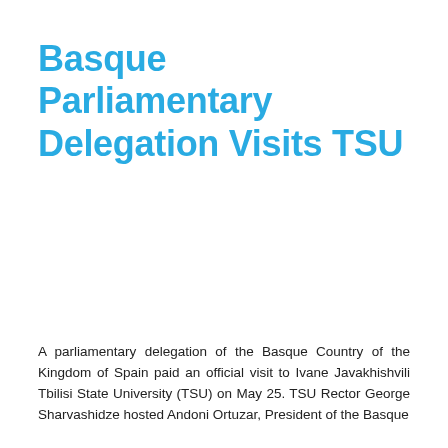Basque Parliamentary Delegation Visits TSU
A parliamentary delegation of the Basque Country of the Kingdom of Spain paid an official visit to Ivane Javakhishvili Tbilisi State University (TSU) on May 25. TSU Rector George Sharvashidze hosted Andoni Ortuzar, President of the Basque